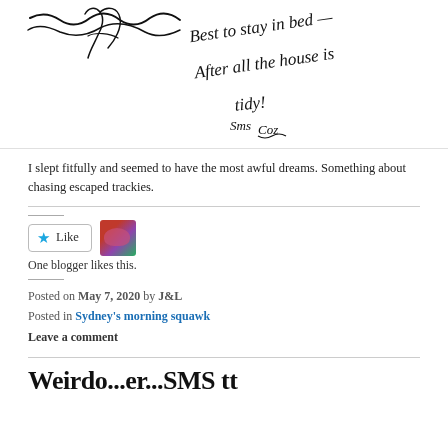[Figure (illustration): Handwritten note with sketchy lines reading: 'Best to stay in bed — After all the house is tidy!' signed 'Sms Coz']
I slept fitfully and seemed to have the most awful dreams. Something about chasing escaped trackies.
[Figure (other): Like button with blue star and blogger avatar thumbnail]
One blogger likes this.
Posted on May 7, 2020 by J&L
Posted in Sydney's morning squawk
Leave a comment
Weirdo...er...SMS tt